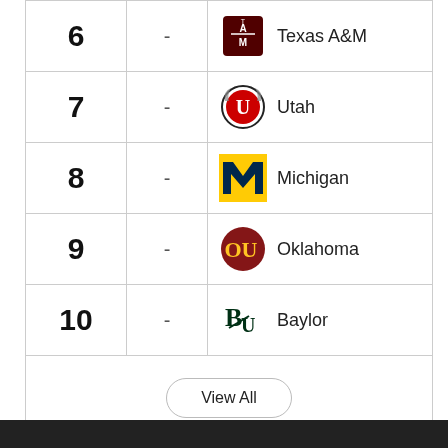| Rank | Change | Team |
| --- | --- | --- |
| 6 | - | Texas A&M |
| 7 | - | Utah |
| 8 | - | Michigan |
| 9 | - | Oklahoma |
| 10 | - | Baylor |
View All